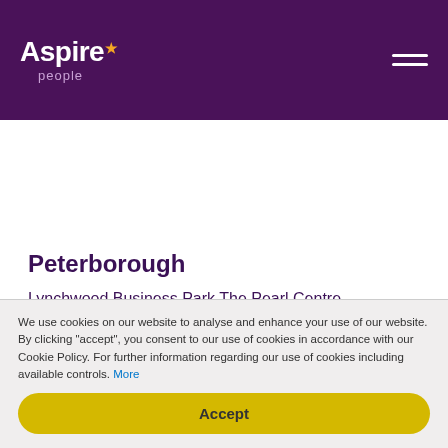[Figure (logo): Aspire People logo — white text on purple background with orange star accent and 'people' in light purple beneath]
Peterborough
Lynchwood Business Park The Pearl Centre
t: 01733 942 784
e: info@aspirepeople.co.uk
We use cookies on our website to analyse and enhance your use of our website. By clicking "accept", you consent to our use of cookies in accordance with our Cookie Policy. For further information regarding our use of cookies including available controls. More
Accept